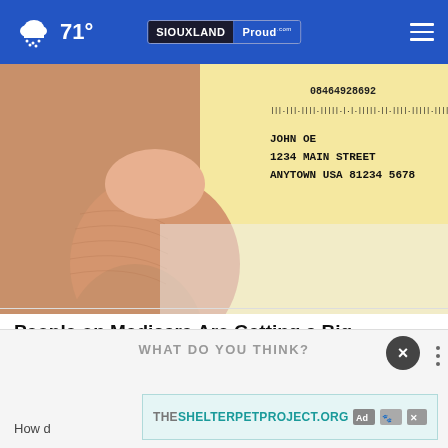71° | SIOUXLAND Proud
[Figure (photo): Close-up of a hand holding a Medicare or government mail envelope addressed to JOHN OE, 1234 MAIN STREET, ANYTOWN USA 81234 5678, with barcode visible at top]
People on Medicare Are Getting a Big Surprise This Month
Everyday Finance
WHAT DO YOU THINK?
How d
[Figure (logo): THESHELTERPETPROJECT.ORG advertisement banner with ad icons]